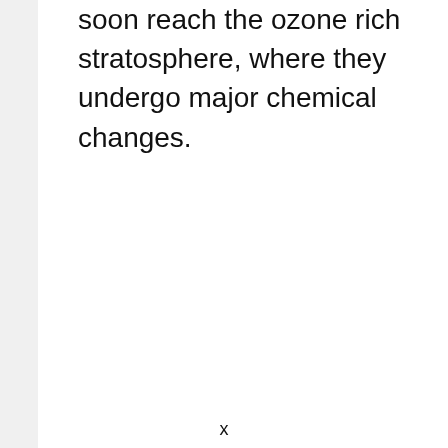soon reach the ozone rich stratosphere, where they undergo major chemical changes.
x